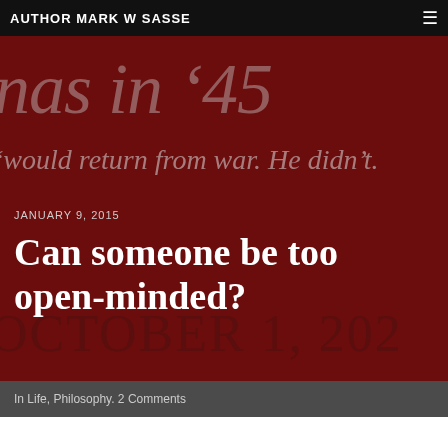AUTHOR MARK W SASSE
[Figure (illustration): Dark red/maroon hero image block showing partial book cover text. Large faded italic text reads 'nas in ’45' and below '‘would return from war. He didn’t.' Overlaid with date 'JANUARY 9, 2015' and large bold white title 'Can someone be too open-minded?' and faded large text 'OCTOBER 1, 202' in background.]
JANUARY 9, 2015
Can someone be too open-minded?
In Life, Philosophy. 2 Comments